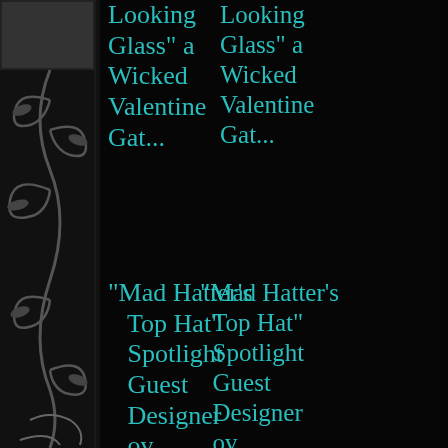Looking Glass" a Wicked Valentine Gat...
"Mad Hatter's Top Hat" Spotlight Guest Designer ov...
► January (2)
► 2012 (91)
► 2011 (72)
► 2010 (15)